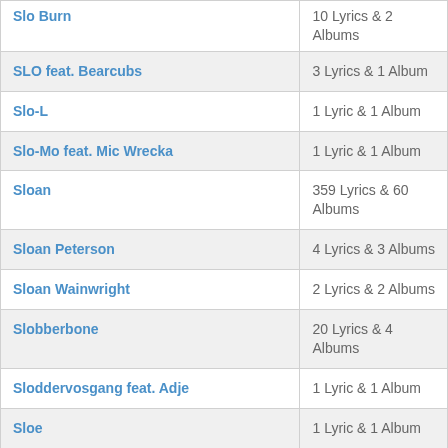| Artist | Count |
| --- | --- |
| Slo Burn | 10 Lyrics & 2 Albums |
| SLO feat. Bearcubs | 3 Lyrics & 1 Album |
| Slo-L | 1 Lyric & 1 Album |
| Slo-Mo feat. Mic Wrecka | 1 Lyric & 1 Album |
| Sloan | 359 Lyrics & 60 Albums |
| Sloan Peterson | 4 Lyrics & 3 Albums |
| Sloan Wainwright | 2 Lyrics & 2 Albums |
| Slobberbone | 20 Lyrics & 4 Albums |
| Sloddervosgang feat. Adje | 1 Lyric & 1 Album |
| Sloe | 1 Lyric & 1 Album |
| Sloes | 5 Lyrics & 2 Albums |
| Slogmåkane feat. Alf Bjarne Jørgensen | 1 Lyric & 1 Album |
| Slogmåkane feat. Helge Hammersland | 1 Lyric & 1 Album |
| Slogmåkane feat. Jan Arild Steinsøy | 1 Lyric & 1 Album |